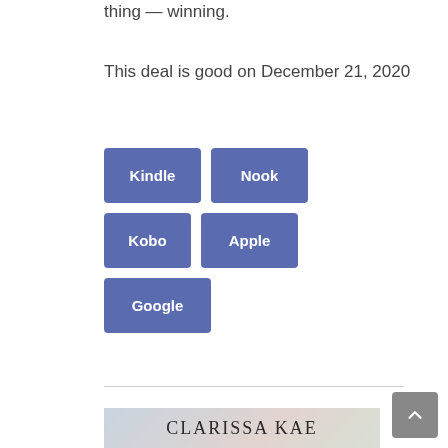thing — winning.
This deal is good on December 21, 2020
[Figure (other): Five retailer buttons: Kindle, Nook, Kobo, Apple, Google — styled as blue-purple rectangular buttons arranged in three rows.]
[Figure (photo): Partial book cover image showing 'CLARISSA KAE' text over a muted background with a figure and pine trees.]